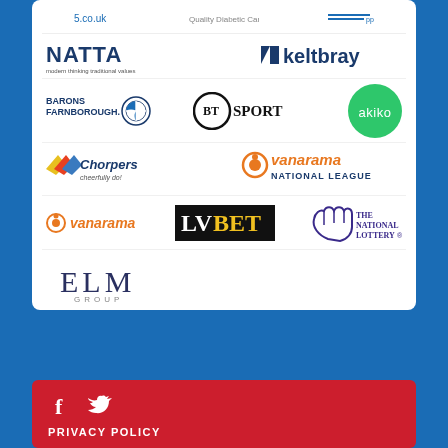[Figure (logo): NATTA - modern thinking traditional values logo]
[Figure (logo): Keltbray logo]
[Figure (logo): Barons Farnborough BMW logo]
[Figure (logo): BT Sport logo]
[Figure (logo): Akiko green circle logo]
[Figure (logo): Chorpers cheerfully do! logo]
[Figure (logo): Vanarama National League logo]
[Figure (logo): Vanarama logo]
[Figure (logo): LV BET logo]
[Figure (logo): The National Lottery logo]
[Figure (logo): ELM GROUP logo]
PRIVACY POLICY